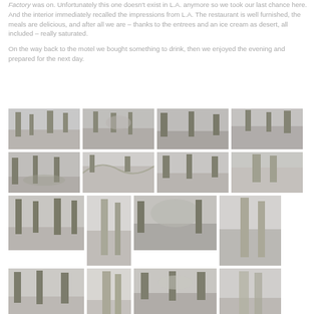Factory was on. Unfortunately this one doesn't exist in L.A. anymore so we took our last chance here. And the interior immediately recalled the impressions from L.A. The restaurant is well furnished, the meals are delicious, and after all we are – thanks to the entrees and an ice cream as desert, all included – really saturated.
On the way back to the motel we bought something to drink, then we enjoyed the evening and prepared for the next day.
[Figure (photo): Grid of 16 nature/forest/landscape photographs arranged in 4 rows]